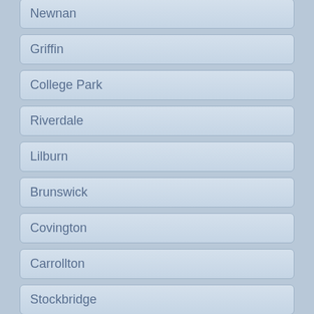Newnan
Griffin
College Park
Riverdale
Lilburn
Brunswick
Covington
Carrollton
Stockbridge
Dunwoody
Fayetteville
Buford
Powder Springs
Lagrange